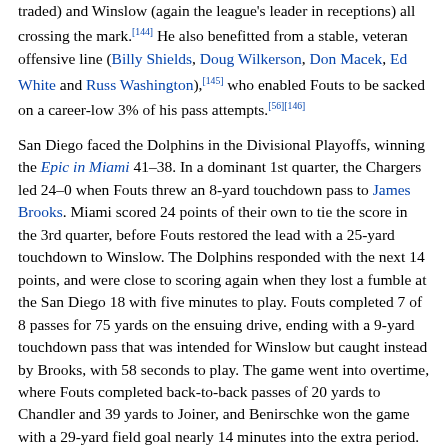traded) and Winslow (again the league's leader in receptions) all crossing the mark.[144] He also benefitted from a stable, veteran offensive line (Billy Shields, Doug Wilkerson, Don Macek, Ed White and Russ Washington),[145] who enabled Fouts to be sacked on a career-low 3% of his pass attempts.[56][146]
San Diego faced the Dolphins in the Divisional Playoffs, winning the Epic in Miami 41–38. In a dominant 1st quarter, the Chargers led 24–0 when Fouts threw an 8-yard touchdown pass to James Brooks. Miami scored 24 points of their own to tie the score in the 3rd quarter, before Fouts restored the lead with a 25-yard touchdown to Winslow. The Dolphins responded with the next 14 points, and were close to scoring again when they lost a fumble at the San Diego 18 with five minutes to play. Fouts completed 7 of 8 passes for 75 yards on the ensuing drive, ending with a 9-yard touchdown pass that was intended for Winslow but caught instead by Brooks, with 58 seconds to play. The game went into overtime, where Fouts completed back-to-back passes of 20 yards to Chandler and 39 yards to Joiner, and Benirschke won the game with a 29-yard field goal nearly 14 minutes into the extra period.[147] Fouts, who described the game as the best he'd ever played in,[148] finished with 33 completions from 53 attempts for 433 yards (all setting new NFL playoff records), with 3 touchdowns and 1 interception.[149] The Epic in Miami also set playoff records for